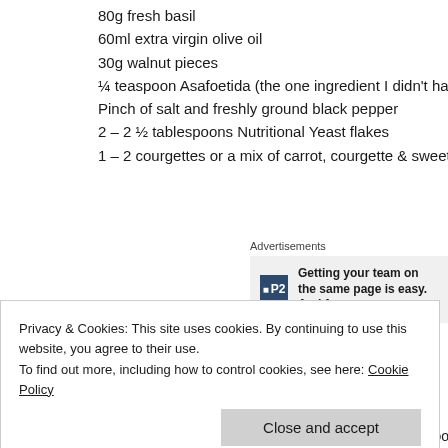80g fresh basil
60ml extra virgin olive oil
30g walnut pieces
¼ teaspoon Asafoetida (the one ingredient I didn't have so
Pinch of salt and freshly ground black pepper
2 – 2 ½ tablespoons Nutritional Yeast flakes
1 – 2 courgettes or a mix of carrot, courgette & sweet pot
[Figure (other): Advertisement banner: P2 logo with text 'Getting your team on the same page is easy. And free.']
METHOD:
Privacy & Cookies: This site uses cookies. By continuing to use this website, you agree to their use.
To find out more, including how to control cookies, see here: Cookie Policy
Place the lemon zest and 1 tablespoon of juice into a food